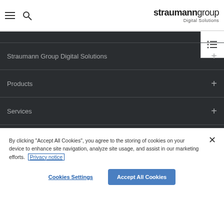[Figure (logo): Straumann Group Digital Solutions logo with hamburger menu and search icon]
Straumann Group Digital Solutions
Products
Services
Highlights
By clicking "Accept All Cookies", you agree to the storing of cookies on your device to enhance site navigation, analyze site usage, and assist in our marketing efforts. Privacy notice
Cookies Settings | Accept All Cookies